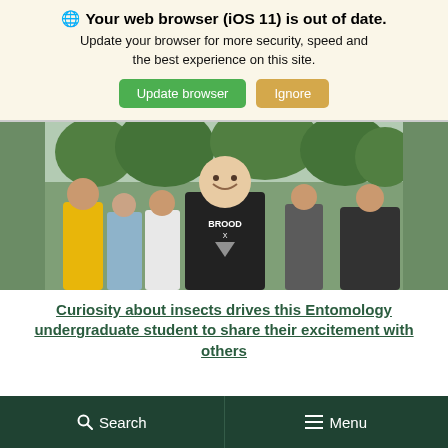🌐 Your web browser (iOS 11) is out of date. Update your browser for more security, speed and the best experience on this site.
[Figure (screenshot): A smiling young man wearing a black 'BROOD X' t-shirt at an outdoor event with a crowd of people in the background.]
Curiosity about insects drives this Entomology undergraduate student to share their excitement with others
Search   Menu